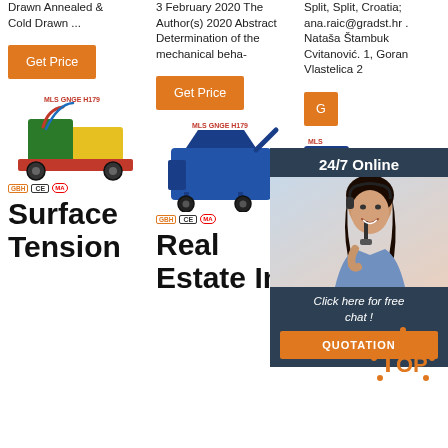Drawn Annealed & Cold Drawn ...
3 February 2020 The Author(s) 2020 Abstract Determination of the mechanical beha-
Split, Split, Croatia; ana.raic@gradst.hr . Nataša Štambuk Cvitanović. 1, Goran Vlastelica 2
Get Price
Get Price
24/7 Online
[Figure (photo): Customer service representative woman with headset, smiling]
Click here for free chat !
QUOTATION
[Figure (photo): Industrial machine - yellow and green hydraulic wire drawing machine on red base with wheels]
[Figure (photo): Industrial machine - blue mortar/grouting machine on wheels]
[Figure (photo): Industrial machine - partially visible, blue and yellow]
Surface Tension
Real Estate In
Hungary MSZ 339
[Figure (logo): TOP logo with orange letters and circular arrow design]